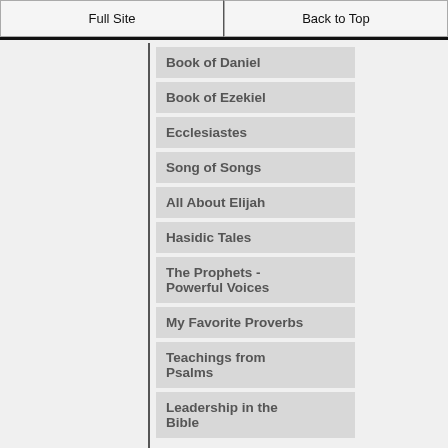Full Site | Back to Top
Book of Daniel
Book of Ezekiel
Ecclesiastes
Song of Songs
All About Elijah
Hasidic Tales
The Prophets - Powerful Voices
My Favorite Proverbs
Teachings from Psalms
Leadership in the Bible